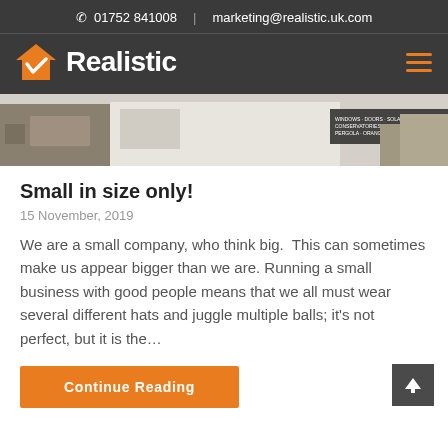01752 841008  |  marketing@realistic.uk.com
[Figure (logo): Realistic logo with orange house checkmark icon and white text 'Realistic' on dark background, with hamburger menu icon]
[Figure (photo): Storefront photo showing a building with signage listing windows, doors, solaroof, composite doors, conservatories, loggia, lanroof, lean roof, orangeries, roofline, double and triple glazing, pergola]
Small in size only!
15 November, 2019
We are a small company, who think big.  This can sometimes make us appear bigger than we are. Running a small business with good people means that we all must wear several different hats and juggle multiple balls; it's not perfect, but it is the…
Continue Reading